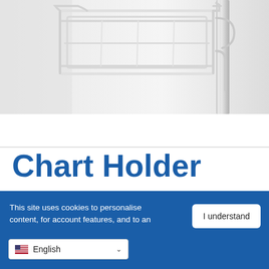[Figure (photo): Close-up photo of a white metal wire chart holder mounted on a vertical pole or rail, with white background. The holder has a rectangular wire basket shape.]
Chart Holder
This site uses cookies to personalise content, for account features, and to an.
I understand
English